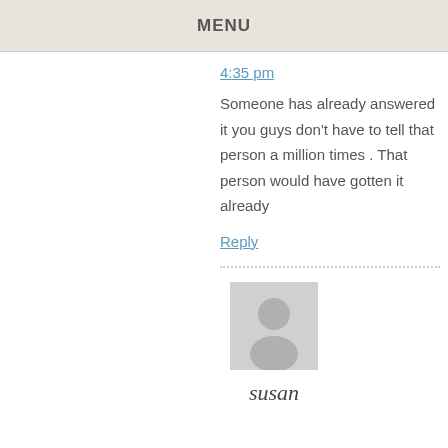MENU
4:35 pm
Someone has already answered it you guys don't have to tell that person a million times . That person would have gotten it already
Reply
[Figure (illustration): Generic user avatar placeholder icon — grey silhouette of a person on light grey background]
susan